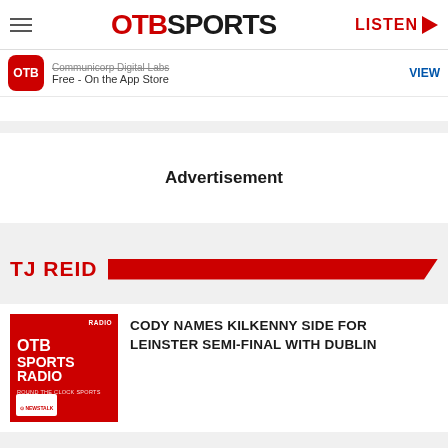OTB SPORTS | LISTEN
Communicorp Digital Labs
Free - On the App Store
VIEW
Advertisement
TJ REID
[Figure (logo): OTB Sports Radio logo on red background]
CODY NAMES KILKENNY SIDE FOR LEINSTER SEMI-FINAL WITH DUBLIN